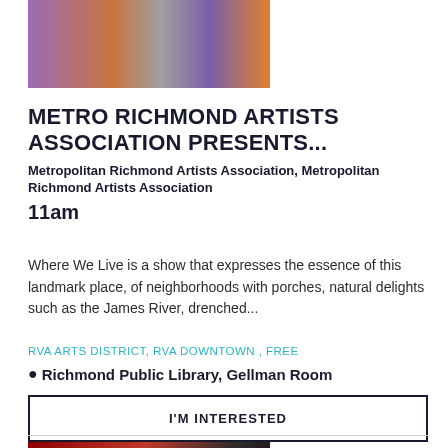[Figure (photo): Colorful urban building facade with purple, orange and grey tones]
METRO RICHMOND ARTISTS ASSOCIATION PRESENTS...
Metropolitan Richmond Artists Association, Metropolitan Richmond Artists Association
11am
Where We Live is a show that expresses the essence of this landmark place, of neighborhoods with porches, natural delights such as the James River, drenched...
RVA ARTS DISTRICT, RVA DOWNTOWN , FREE
Richmond Public Library, Gellman Room
I'M INTERESTED
[Figure (photo): Dark red and black abstract image, possibly smoke or fabric]